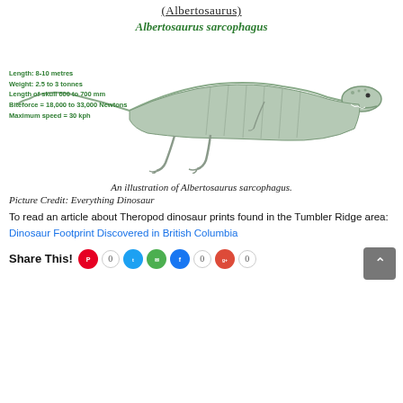(Albertosaurus)
[Figure (illustration): Illustration of Albertosaurus sarcophagus dinosaur with stats: Length: 8-10 metres, Weight: 2.5 to 3 tonnes, Length of skull 600 to 700 mm, Biteforce = 18,000 to 33,000 Newtons, Maximum speed = 30 kph. Title: Albertosaurus sarcophagus]
An illustration of Albertosaurus sarcophagus.
Picture Credit: Everything Dinosaur
To read an article about Theropod dinosaur prints found in the Tumbler Ridge area: Dinosaur Footprint Discovered in British Columbia
Share This! 0 0 0